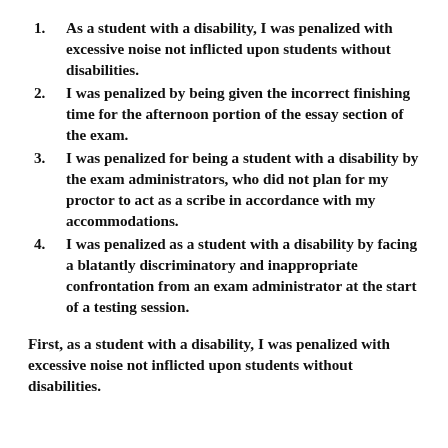As a student with a disability, I was penalized with excessive noise not inflicted upon students without disabilities.
I was penalized by being given the incorrect finishing time for the afternoon portion of the essay section of the exam.
I was penalized for being a student with a disability by the exam administrators, who did not plan for my proctor to act as a scribe in accordance with my accommodations.
I was penalized as a student with a disability by facing a blatantly discriminatory and inappropriate confrontation from an exam administrator at the start of a testing session.
First, as a student with a disability, I was penalized with excessive noise not inflicted upon students without disabilities.